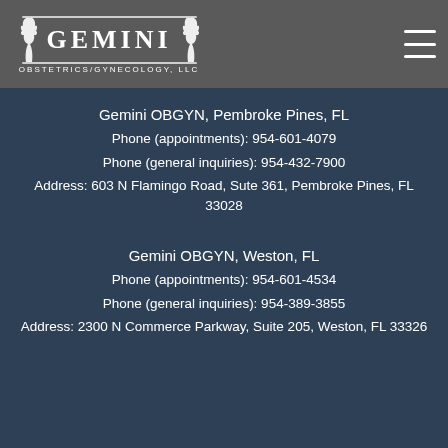[Figure (logo): Gemini Obstetrics/Gynecology, LLC logo — white stylized twins figures with text on dark grey header bar]
Gemini OBGYN, Pembroke Pines, FL
Phone (appointments): 954-601-4079
Phone (general inquiries): 954-432-7900
Address: 603 N Flamingo Road, Sute 361, Pembroke Pines, FL 33028
Gemini OBGYN, Weston, FL
Phone (appointments): 954-601-4534
Phone (general inquiries): 954-389-3855
Address: 2300 N Commerce Parkway, Suite 205, Weston, FL 33326